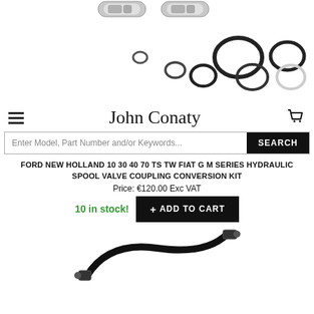[Figure (photo): Hydraulic spool valve coupling fittings (chrome metal connectors) and O-ring seals of various sizes on white background]
John Conaty
Enter Model, Part Number and/or Keywords...  SEARCH
FORD NEW HOLLAND 10 30 40 70 TS TW FIAT G M SERIES HYDRAULIC SPOOL VALVE COUPLING CONVERSION KIT
Price: €120.00 Exc VAT
10 in stock!  + ADD TO CART
[Figure (photo): Black hydraulic cable/hose with metal end fittings, curled on white background]